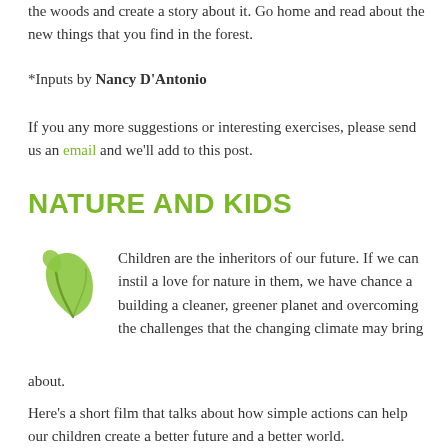the woods and create a story about it. Go home and read about the new things that you find in the forest.
*Inputs by Nancy D'Antonio
If you any more suggestions or interesting exercises, please send us an email and we'll add to this post.
NATURE AND KIDS
[Figure (illustration): Green leaf icon/logo]
Children are the inheritors of our future. If we can instil a love for nature in them, we have chance a building a cleaner, greener planet and overcoming the challenges that the changing climate may bring about.
Here's a short film that talks about how simple actions can help our children create a better future and a better world.